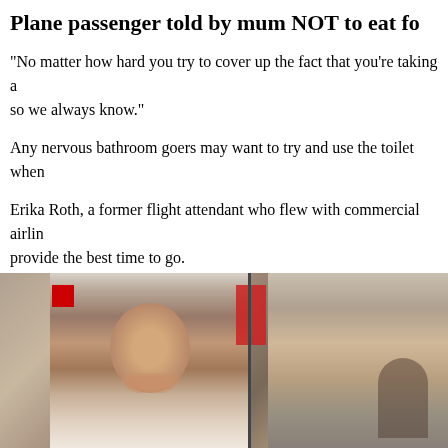Plane passenger told by mum NOT to eat fo
"No matter how hard you try to cover up the fact that you're taking a so we always know."
Any nervous bathroom goers may want to try and use the toilet when
Erika Roth, a former flight attendant who flew with commercial airlin provide the best time to go.
Read More on The Sun
[Figure (photo): A smiling man photographed inside an airplane cabin near the galley area, with a red curtain visible. A second image shows another person on the right side.]